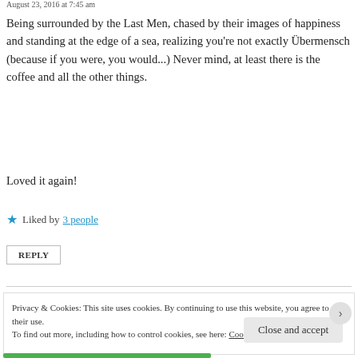August 23, 2016 at 7:45 am
Being surrounded by the Last Men, chased by their images of happiness and standing at the edge of a sea, realizing you're not exactly Übermensch (because if you were, you would...) Never mind, at least there is the coffee and all the other things.
Loved it again!
★ Liked by 3 people
REPLY
Privacy & Cookies: This site uses cookies. By continuing to use this website, you agree to their use. To find out more, including how to control cookies, see here: Cookie Policy
Close and accept